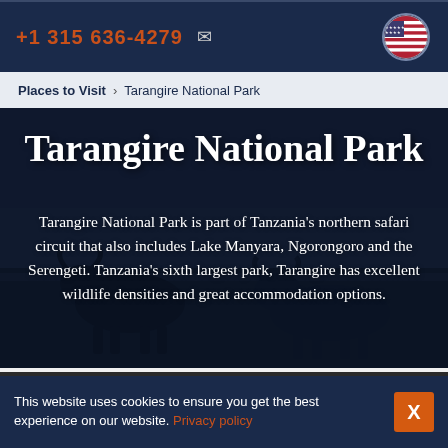+1 315 636-4279  ✉
Places to Visit > Tarangire National Park
[Figure (photo): Dark overlay photo of wildlife (buffalo silhouettes) at Tarangire National Park, used as hero background image]
Tarangire National Park
Tarangire National Park is part of Tanzania's northern safari circuit that also includes Lake Manyara, Ngorongoro and the Serengeti. Tanzania's sixth largest park, Tarangire has excellent wildlife densities and great accommodation options.
This website uses cookies to ensure you get the best experience on our website. Privacy policy